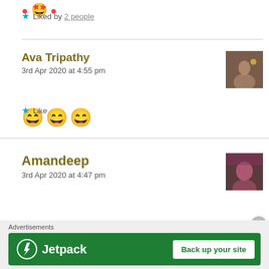★ Liked by 2 people
Ava Tripathy
3rd Apr 2020 at 4:55 pm
😄😄😄
★ Like
Amandeep
3rd Apr 2020 at 4:47 pm
[Figure (other): Advertisements banner: Jetpack - Back up your site]